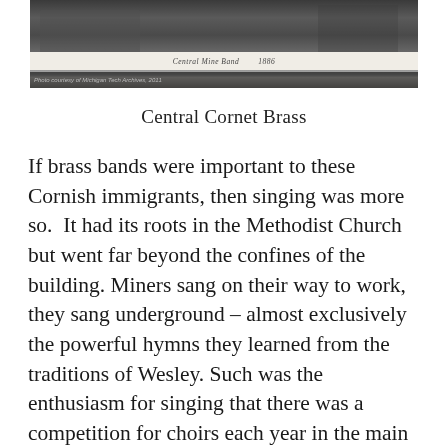[Figure (photo): Historical black and white photograph of Central Cornet Brass band, with a white bar below containing handwritten text, and a photo credit strip at the bottom reading 'Photo courtesy of Michigan Tech Archives, 2011']
Central Cornet Brass
If brass bands were important to these Cornish immigrants, then singing was more so.  It had its roots in the Methodist Church but went far beyond the confines of the building. Miners sang on their way to work, they sang underground – almost exclusively the powerful hymns they learned from the traditions of Wesley. Such was the enthusiasm for singing that there was a competition for choirs each year in the main town of Calumet.